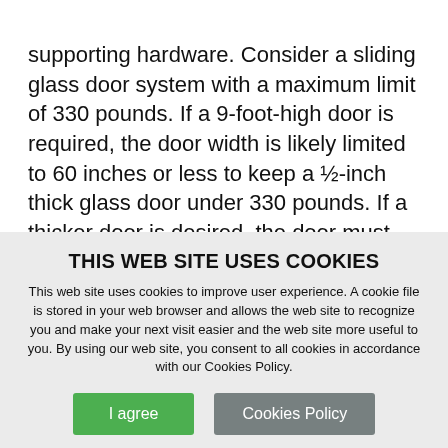supporting hardware. Consider a sliding glass door system with a maximum limit of 330 pounds. If a 9-foot-high door is required, the door width is likely limited to 60 inches or less to keep a ½-inch thick glass door under 330 pounds. If a thicker door is desired, the door must be either reduced in width or height, with thought
THIS WEB SITE USES COOKIES
This web site uses cookies to improve user experience. A cookie file is stored in your web browser and allows the web site to recognize you and make your next visit easier and the web site more useful to you. By using our web site, you consent to all cookies in accordance with our Cookies Policy.